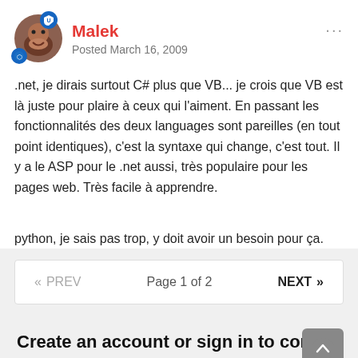Malek
Posted March 16, 2009
.net, je dirais surtout C# plus que VB... je crois que VB est là juste pour plaire à ceux qui l'aiment. En passant les fonctionnalités des deux languages sont pareilles (en tout point identiques), c'est la syntaxe qui change, c'est tout. Il y a le ASP pour le .net aussi, très populaire pour les pages web. Très facile à apprendre.
python, je sais pas trop, y doit avoir un besoin pour ça.
« PREV   Page 1 of 2   NEXT »
Create an account or sign in to comme
You need to be a member in order to leave a comment